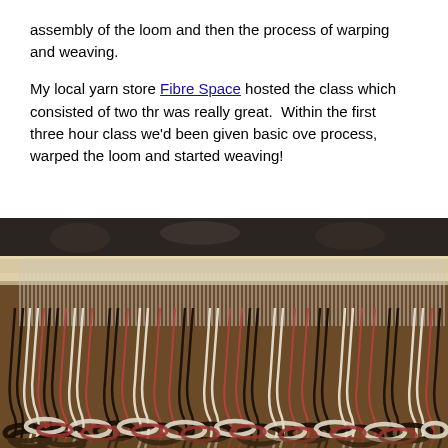assembly of the loom and then the process of warping and weaving.
My local yarn store Fibre Space hosted the class which consisted of two thr... was really great. Within the first three hour class we'd been given basic ove... process, warped the loom and started weaving!
[Figure (photo): Close-up photograph of a loom warped with yarn strands in black, white, and red/pink colors looped through the heddles, showing the warp threads hanging down from the beater.]